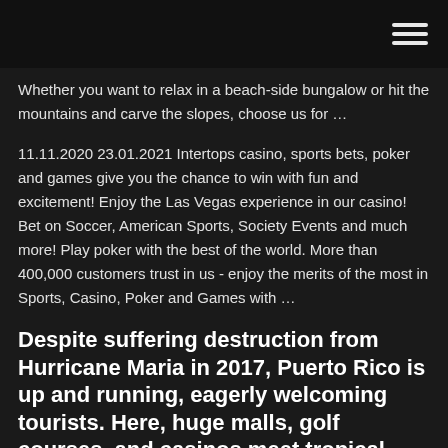Whether you want to relax in a beach-side bungalow or hit the mountains and carve the slopes, choose us for …
11.11.2020 23.01.2021 Intertops casino, sports bets, poker and games give you the chance to win with fun and excitement! Enjoy the Las Vegas experience in our casino! Bet on Soccer, American Sports, Society Events and much more! Play poker with the best of the world. More than 400,000 customers trust in us - enjoy the merits of the most in Sports, Casino, Poker and Games with …
Despite suffering destruction from Hurricane Maria in 2017, Puerto Rico is up and running, eagerly welcoming tourists. Here, huge malls, golf courses, and casinos meet tropical rainforests and